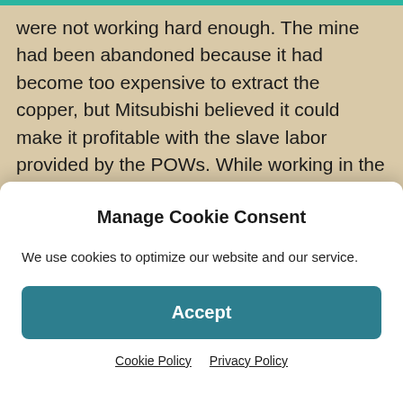were not working hard enough. The mine had been abandoned because it had become too expensive to extract the copper, but Mitsubishi believed it could make it profitable with the slave labor provided by the POWs. While working in the mine from November 1944 until August 15, 1945, the POWs were abused by the civilian foreman, Hichiro Tsuchiya, who was known to the POWs as "Patches." Tsuchiya used any excuse to abuse the POWs. He was known to hit the POWs for no reason in their faces and to also use a wooden club or pickaxe handle. Lighting was poor and most areas were not even
Manage Cookie Consent
We use cookies to optimize our website and our service.
Accept
Cookie Policy   Privacy Policy